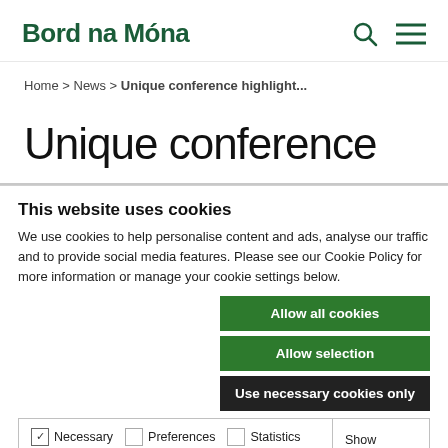Bord na Móna
Home > News > Unique conference highlight...
Unique conference
This website uses cookies
We use cookies to help personalise content and ads, analyse our traffic and to provide social media features. Please see our Cookie Policy for more information or manage your cookie settings below.
Allow all cookies | Allow selection | Use necessary cookies only
Necessary  Preferences  Statistics  Show details  Marketing